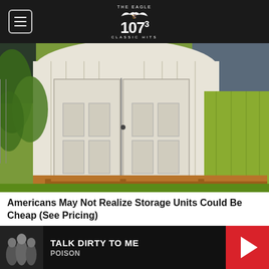THE EAGLE 107.3 CLASSIC HITS
[Figure (photo): Outdoor storage shed with white vertical board-and-batten siding, double doors with decorative panels, arched roof, and yellow-green side panel, sitting on wooden runners on a green lawn with trees in background.]
Americans May Not Realize Storage Units Could Be Cheap (See Pricing)
Storage Units | Search ads
Search Now
TALK DIRTY TO ME
POISON